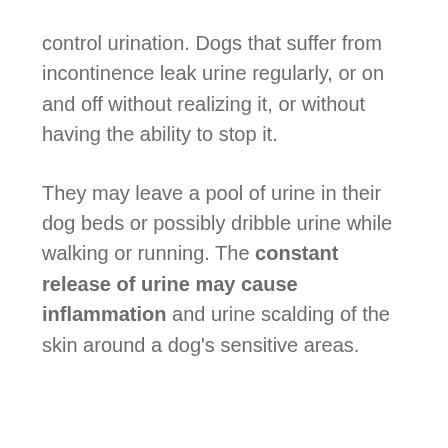control urination. Dogs that suffer from incontinence leak urine regularly, or on and off without realizing it, or without having the ability to stop it.
They may leave a pool of urine in their dog beds or possibly dribble urine while walking or running. The constant release of urine may cause inflammation and urine scalding of the skin around a dog's sensitive areas.